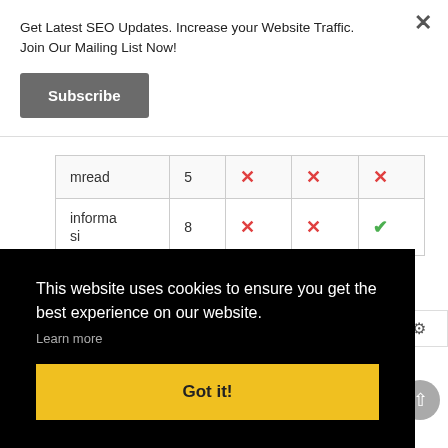Get Latest SEO Updates. Increase your Website Traffic. Join Our Mailing List Now!
Subscribe
| mread | 5 | ✗ | ✗ | ✗ |
| informa si | 8 | ✗ | ✗ | ✓ |
This website uses cookies to ensure you get the best experience on our website.
Learn more
Got it!